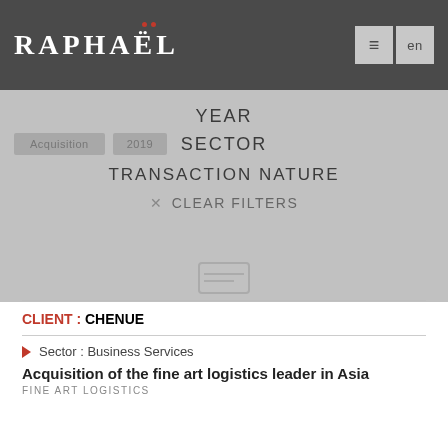RAPHAËL — en
YEAR
Acquisition | 2019
SECTOR
TRANSACTION NATURE
✕ CLEAR FILTERS
CLIENT : CHENUE
> Sector : Business Services
Acquisition of the fine art logistics leader in Asia
FINE ART LOGISTICS